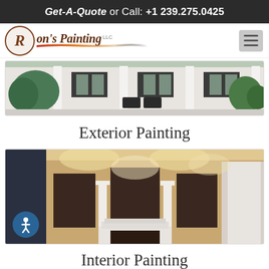Get-A-Quote or Call: +1 239.275.0425
[Figure (logo): Ron's Painting LLC logo with circular emblem and script text]
[Figure (photo): Exterior photo of a house with white columns, dark shutters, and porch furniture]
Exterior Painting
[Figure (photo): Interior photo of a room with arched alcoves, white columns, and a fireplace mantle with warm lighting]
Interior Painting